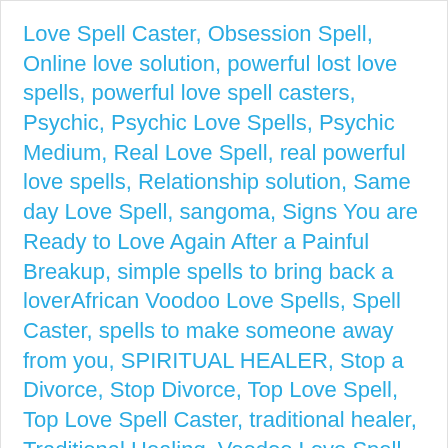Love Spell Caster, Obsession Spell, Online love solution, powerful lost love spells, powerful love spell casters, Psychic, Psychic Love Spells, Psychic Medium, Real Love Spell, real powerful love spells, Relationship solution, Same day Love Spell, sangoma, Signs You are Ready to Love Again After a Painful Breakup, simple spells to bring back a loverAfrican Voodoo Love Spells, Spell Caster, spells to make someone away from you, SPIRITUAL HEALER, Stop a Divorce, Stop Divorce, Top Love Spell, Top Love Spell Caster, traditional healer, Traditional Healing, Voodoo Love Spell, White magic spells for love, Win Lost Love Back
Open   noor nuhu asked 10 hours ago • Questions
Astrologer, Astrological reason behind lost love, Astrology Love Solution, Authentic Love Spells, Best Astrologer For Love Problems, Best Love Spell, best love spell caster online, Binding Spell Love, Black Magic Expert, Black Magic Removal, Black Magic Removal Expert, Black